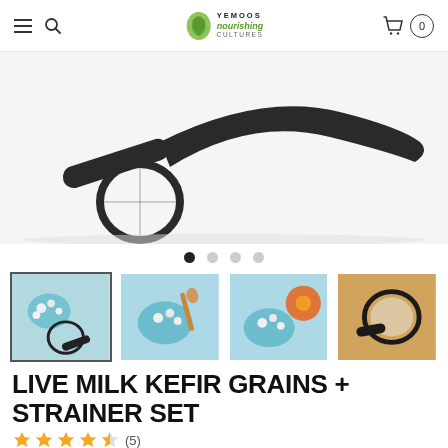Yemoos Nourishing Cultures — navigation bar with hamburger menu, search, logo, cart (0)
[Figure (photo): Close-up of a black plastic kefir strainer/sieve tool against a white background, showing the curved handle and round mesh strainer head]
[Figure (photo): Four thumbnail product images: (1) kefir grains in blue bowl with strainer, (2) kefir grains in blue bowl with wooden spoon, (3) kefir grains in blue bowl with orange flower, (4) black strainer tool on wooden surface]
LIVE MILK KEFIR GRAINS + STRAINER SET
★★★★½ (5)